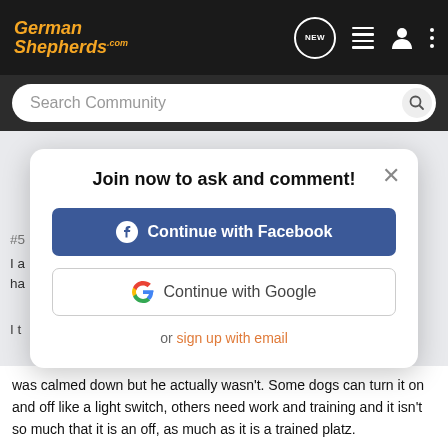GermanShepherds.com
Search Community
Join now to ask and comment!
Continue with Facebook
Continue with Google
or sign up with email
#5
was calmed down but he actually wasn't. Some dogs can turn it on and off like a light switch, others need work and training and it isn't so much that it is an off, as much as it is a trained platz.